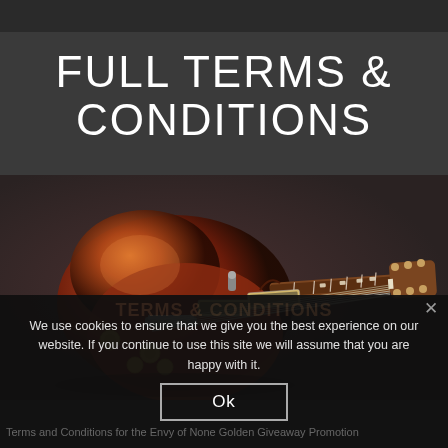FULL TERMS & CONDITIONS
[Figure (photo): Electric guitar (Les Paul style) with sunburst finish against a dark background, shown horizontally with headstock pointing to the right]
We use cookies to ensure that we give you the best experience on our website. If you continue to use this site we will assume that you are happy with it.
Ok
Terms and Conditions for the Envy of None Golden Giveaway Promotion